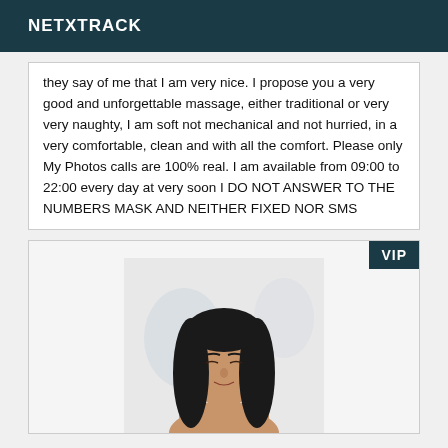NETXTRACK
they say of me that I am very nice. I propose you a very good and unforgettable massage, either traditional or very very naughty, I am soft not mechanical and not hurried, in a very comfortable, clean and with all the comfort. Please only My Photos calls are 100% real. I am available from 09:00 to 22:00 every day at very soon I DO NOT ANSWER TO THE NUMBERS MASK AND NEITHER FIXED NOR SMS
[Figure (photo): Photo of a dark-haired woman with a VIP badge in the top right corner of the image box]